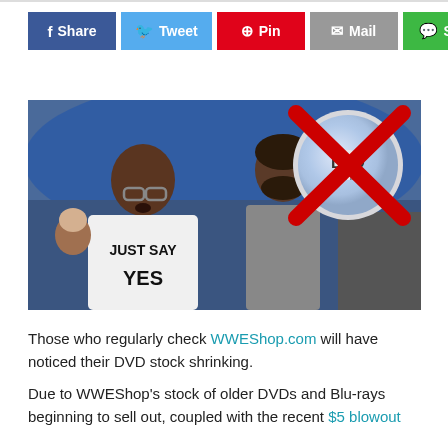[Figure (infographic): Social sharing buttons row: Share (blue/Facebook), Tweet (light blue/Twitter), Pin (red/Pinterest), Mail (grey), SMS (green)]
[Figure (photo): A man wearing a 'JUST SAY YES' t-shirt at a wrestling event crowd, with a DVD disc crossed out with a red X overlaid in the upper right corner]
Those who regularly check WWEShop.com will have noticed their DVD stock shrinking.
Due to WWEShop's stock of older DVDs and Blu-rays beginning to sell out, coupled with the recent $5 blowout